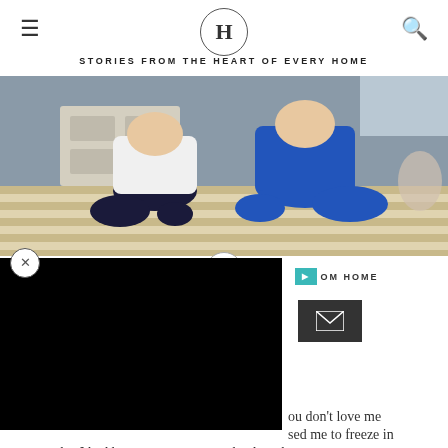H — STORIES FROM THE HEART OF EVERY HOME
[Figure (photo): Two children sitting side by side on a striped bed, one wearing a white shirt and dark pants, the other in a blue outfit, seen from behind.]
you don't love me
sed me to freeze in
my tracks. I had been on my way out the door, but as
soon as those words were uttered, I knew I wasn't going
anywhere. The words hung in the air, and I held m...